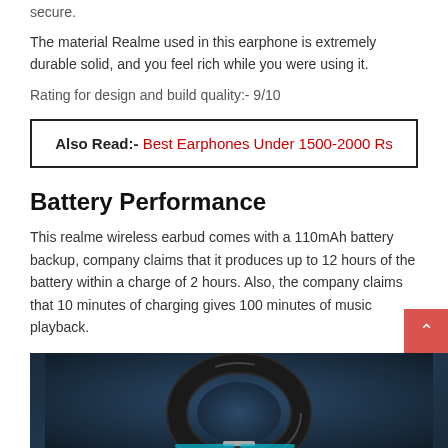secure.
The material Realme used in this earphone is extremely durable solid, and you feel rich while you were using it.
Rating for design and build quality:- 9/10
Also Read:- Best Earphones Under 1500-2000 Rs
Battery Performance
This realme wireless earbud comes with a 110mAh battery backup, company claims that it produces up to 12 hours of the battery within a charge of 2 hours. Also, the company claims that 10 minutes of charging gives 100 minutes of music playback.
[Figure (photo): Photo of Realme wireless earbuds/earphone, dark background showing the ear hook/loop design with black and silver accents]